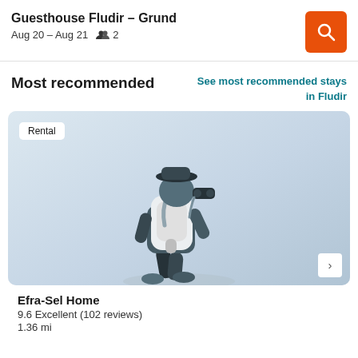Guesthouse Fludir – Grund
Aug 20 – Aug 21   2
Most recommended
See most recommended stays in Fludir
[Figure (illustration): Illustration of a traveller with a large backpack looking through binoculars, in flat geometric style with blue-gray tones. Badge reading 'Rental' in top-left corner.]
Efra-Sel Home
9.6 Excellent (102 reviews)
1.36 mi